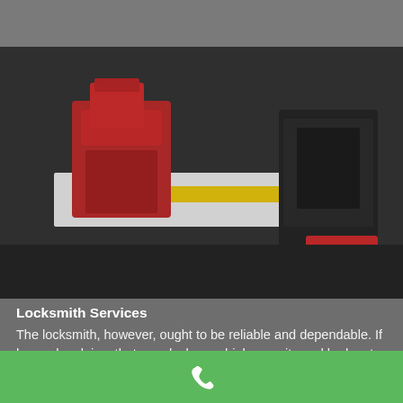[Figure (photo): Blurred photo of a locksmith workshop showing key cutting machines and equipment on a workbench, with red, yellow, and black machinery visible.]
Locksmith Services
The locksmith, however, ought to be reliable and dependable. If he or she claims that your locks are high security and he has to drill them, he is likely not telling the truth. The exact same
[Figure (other): Green call button bar with white phone handset icon]